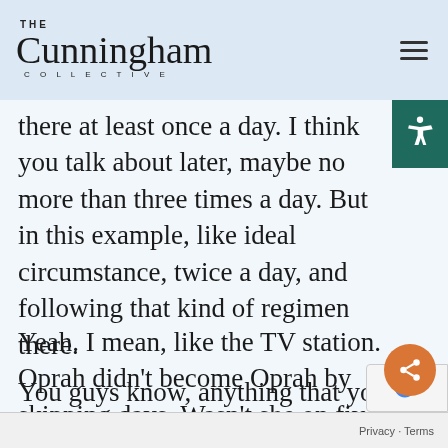The Cunningham Collective
there at least once a day. I think you talk about later, maybe no more than three times a day. But in this example, like ideal circumstance, twice a day, and following that kind of regimen there.
Yeah. I mean, like the TV station. Oprah didn't become Oprah by skipping days. Wasn't she on five days a week?
You guys know, anything that you